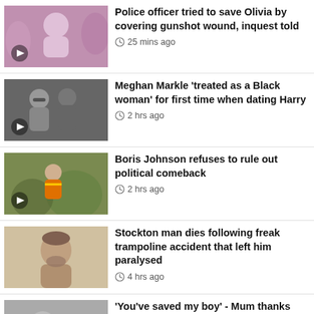Police officer tried to save Olivia by covering gunshot wound, inquest told — 25 mins ago
Meghan Markle 'treated as a Black woman' for first time when dating Harry — 2 hrs ago
Boris Johnson refuses to rule out political comeback — 2 hrs ago
Stockton man dies following freak trampoline accident that left him paralysed — 4 hrs ago
'You've saved my boy' - Mum thanks donor after son's lifesaving transplant